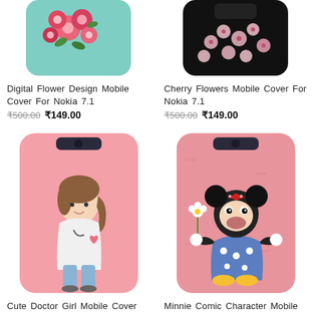[Figure (photo): Top portion of a Nokia 7.1 phone case with digital flower (roses on teal) design, partially cropped]
[Figure (photo): Top portion of a Nokia 7.1 phone case with cherry flowers design on black background, partially cropped]
Digital Flower Design Mobile Cover For Nokia 7.1
₹500.00  ₹149.00
Cherry Flowers Mobile Cover For Nokia 7.1
₹500.00  ₹149.00
[Figure (photo): Nokia 7.1 phone case with pink background and cute cartoon doctor girl illustration]
[Figure (photo): Nokia 7.1 phone case with pink background and Minnie Mouse comic character illustration]
Cute Doctor Girl Mobile Cover For
Minnie Comic Character Mobile